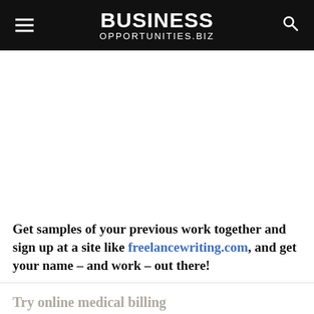BUSINESS OPPORTUNITIES.BIZ
[Figure (other): White blank advertisement area]
Get samples of your previous work together and sign up at a site like freelancewriting.com, and get your name – and work – out there!
Try online medical billing